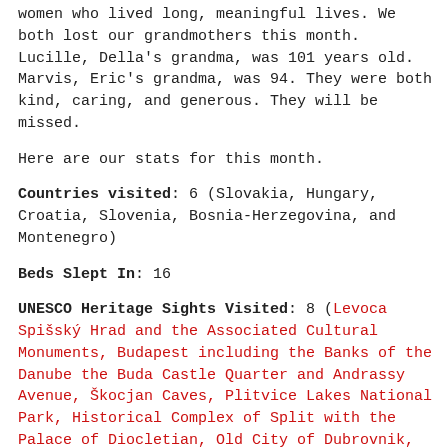women who lived long, meaningful lives. We both lost our grandmothers this month. Lucille, Della's grandma, was 101 years old. Marvis, Eric's grandma, was 94. They were both kind, caring, and generous. They will be missed.
Here are our stats for this month.
Countries visited: 6 (Slovakia, Hungary, Croatia, Slovenia, Bosnia-Herzegovina, and Montenegro)
Beds Slept In: 16
UNESCO Heritage Sights Visited: 8 (Levoca Spišský Hrad and the Associated Cultural Monuments, Budapest including the Banks of the Danube the Buda Castle Quarter and Andrassy Avenue, Škocjan Caves, Plitvice Lakes National Park, Historical Complex of Split with the Palace of Diocletian, Old City of Dubrovnik, Old Bridge Area of the Old City of Mostar, Natural and Culturo-Historical Region of Kotor) Total on RTW: 23
We traveled by 0 planes this month!